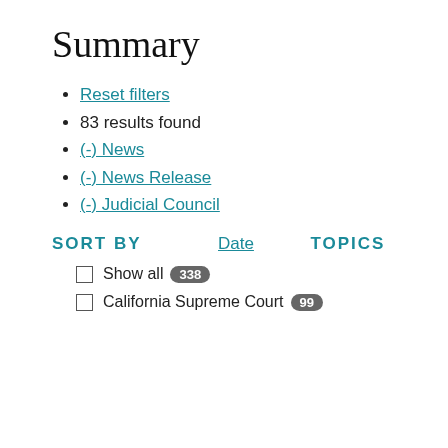Summary
Reset filters
83 results found
(-) News
(-) News Release
(-) Judicial Council
SORT BY
Date
TOPICS
Show all 338
California Supreme Court 99